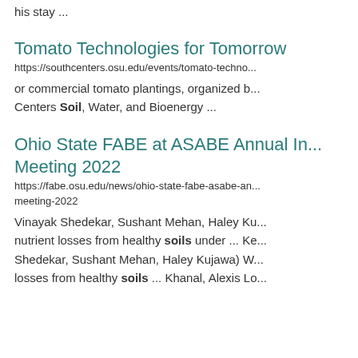his stay ...
Tomato Technologies for Tomorrow
https://southcenters.osu.edu/events/tomato-techno... or commercial tomato plantings, organized by Centers Soil, Water, and Bioenergy ...
Ohio State FABE at ASABE Annual In... Meeting 2022
https://fabe.osu.edu/news/ohio-state-fabe-asabe-an... meeting-2022
Vinayak Shedekar, Sushant Mehan, Haley Ku... nutrient losses from healthy soils under ... Ke... Shedekar, Sushant Mehan, Haley Kujawa) W... losses from healthy soils ... Khanal, Alexis Lo...